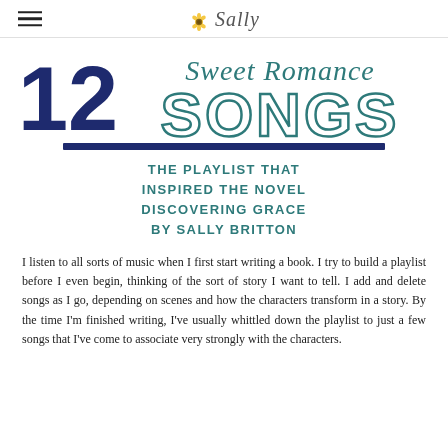Sally
[Figure (illustration): Banner image showing '12 Sweet Romance Songs' with large bold navy '12' on left and decorative script 'Sweet Romance' above outlined block letters 'SONGS' in teal.]
THE PLAYLIST THAT INSPIRED THE NOVEL DISCOVERING GRACE BY SALLY BRITTON
I listen to all sorts of music when I first start writing a book. I try to build a playlist before I even begin, thinking of the sort of story I want to tell. I add and delete songs as I go, depending on scenes and how the characters transform in a story. By the time I'm finished writing, I've usually whittled down the playlist to just a few songs that I've come to associate very strongly with the characters.